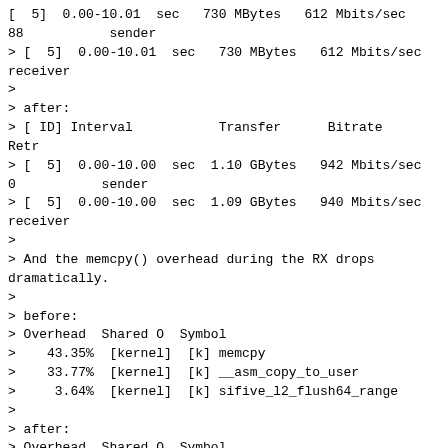[ 5]  0.00-10.01  sec   730 MBytes   612 Mbits/sec
88           sender
> [ 5]  0.00-10.01  sec   730 MBytes   612 Mbits/sec
receiver
>
> after:
> [ ID] Interval           Transfer      Bitrate       Retr
> [ 5]  0.00-10.00  sec  1.10 GBytes   942 Mbits/sec   0           sender
> [ 5]  0.00-10.00  sec  1.09 GBytes   940 Mbits/sec
receiver
>
> And the memcpy() overhead during the RX drops
dramatically.
>
> before:
> Overhead  Shared O  Symbol
>    43.35%  [kernel]  [k] memcpy
>    33.77%  [kernel]  [k] __asm_copy_to_user
>     3.64%  [kernel]  [k] sifive_l2_flush64_range
>
> after:
> Overhead  Shared O  Symbol
>    45.40%  [kernel]  [k] __asm_copy_to_user
>    28.09%  [kernel]  [k] memcpy
>     4.27%  [kernel]  [k] sifive_l2_flush64_range
>
> Signed-off-by: Matteo Croce <mcroce@microsoft.com>

This patch completely breaks my Jetson TX2 system